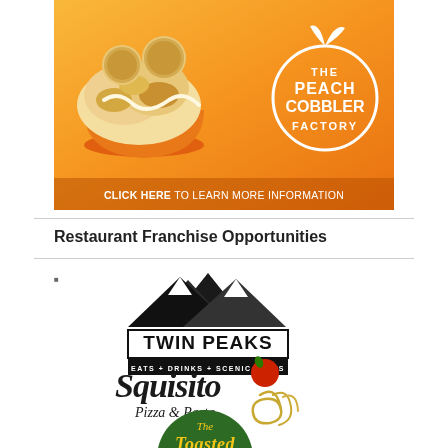[Figure (illustration): The Peach Cobbler Factory advertisement banner with orange background, peach cobbler dessert image on the left, peach logo on the right, and 'CLICK HERE TO LEARN MORE INFORMATION' bar at the bottom.]
Restaurant Franchise Opportunities
[Figure (logo): Twin Peaks restaurant logo with mountain silhouette and tagline EATS + DRINKS + SCENIC VIEWS]
[Figure (logo): Squisito Pizza & Pasta restaurant logo with stylized text and tomato graphic]
[Figure (logo): The Toasted Yolk restaurant logo, partially visible at bottom]